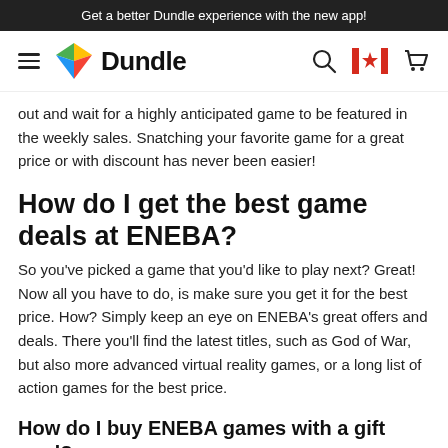Get a better Dundle experience with the new app!
[Figure (logo): Dundle logo with colorful geometric gem icon and bold 'Dundle' wordmark, alongside navigation icons (hamburger menu, search, Canadian flag, cart)]
out and wait for a highly anticipated game to be featured in the weekly sales. Snatching your favorite game for a great price or with discount has never been easier!
How do I get the best game deals at ENEBA?
So you've picked a game that you'd like to play next? Great! Now all you have to do, is make sure you get it for the best price. How? Simply keep an eye on ENEBA's great offers and deals. There you'll find the latest titles, such as God of War, but also more advanced virtual reality games, or a long list of action games for the best price.
How do I buy ENEBA games with a gift card?
To pay for your video games with secure prepaid credit, simply log in with your ENEBA account. Redeem your gift card to